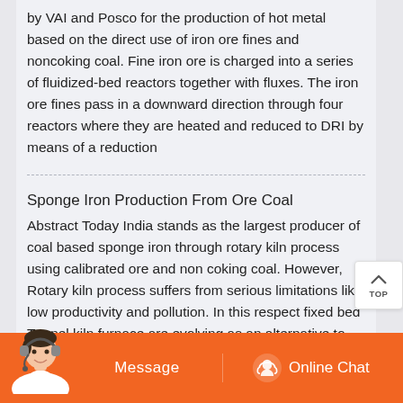by VAI and Posco for the production of hot metal based on the direct use of iron ore fines and noncoking coal. Fine iron ore is charged into a series of fluidized-bed reactors together with fluxes. The iron ore fines pass in a downward direction through four reactors where they are heated and reduced to DRI by means of a reduction
Sponge Iron Production From Ore Coal
Abstract Today India stands as the largest producer of coal based sponge iron through rotary kiln process using calibrated ore and non coking coal. However, Rotary kiln process suffers from serious limitations like low productivity and pollution. In this respect fixed bed Tunnel kiln furnace are evolving as an alternative to Rotary kiln process.
Sponge Iron Dri The Hira Group
[Figure (screenshot): Chat widget with orange background showing Message button on left and Online Chat button with headset icon on right, with a customer service avatar on far left]